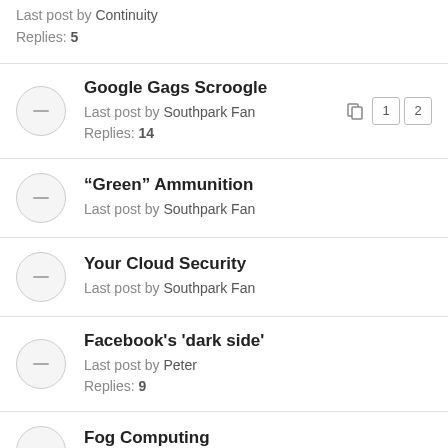Last post by Continuity
Replies: 5
Google Gags Scroogle — Last post by Southpark Fan — Replies: 14 — Pages: 1 2
"Green" Ammunition — Last post by Southpark Fan
Your Cloud Security — Last post by Southpark Fan
Facebook's 'dark side' — Last post by Peter — Replies: 9
Fog Computing — Last post by Continuity